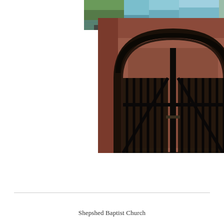[Figure (photo): Two overlapping photographs: top photo shows a canal or river with green trees reflecting on blue water; main photo shows a black iron arched gate set within a red brick archway, with vertical iron bars and diagonal bracing.]
Shepshed Baptist Church